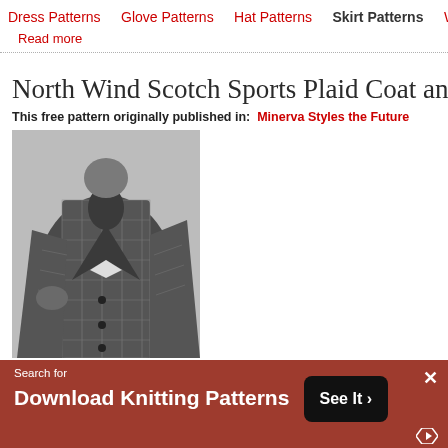Dress Patterns | Glove Patterns | Hat Patterns | Skirt Patterns | Women...
Read more
North Wind Scotch Sports Plaid Coat and Oly...
This free pattern originally published in:  Minerva Styles the Future
[Figure (photo): Black and white photograph of a woman wearing a plaid coat, shown from roughly the waist up, holding part of the coat open]
Search for
Download Knitting Patterns  See It >